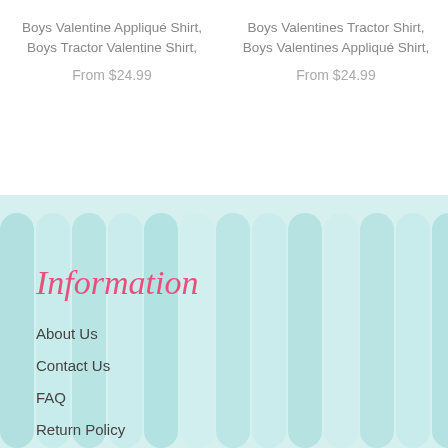Boys Valentine Appliqué Shirt, Boys Tractor Valentine Shirt,
From $24.99
Boys Valentines Tractor Shirt, Boys Valentines Appliqué Shirt,
From $24.99
Information
About Us
Contact Us
FAQ
Return Policy
Terms And Conditions
Follow Us